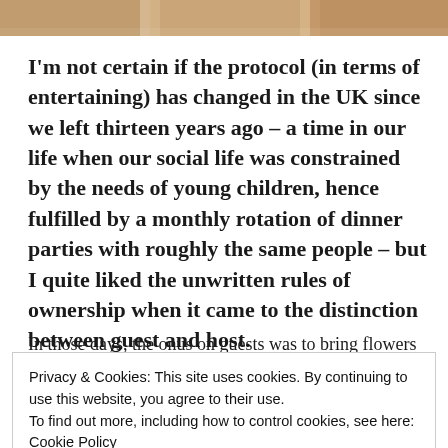[Figure (photo): Partial photo strip at top of page showing blurred image, likely hands or food items]
I'm not certain if the protocol (in terms of entertaining) has changed in the UK since we left thirteen years ago – a time in our life when our social life was constrained by the needs of young children, hence fulfilled by a monthly rotation of dinner parties with roughly the same people – but I quite liked the unwritten rules of ownership when it came to the distinction between guest and host.
In those days, the onus on guests was to bring flowers
Privacy & Cookies: This site uses cookies. By continuing to use this website, you agree to their use.
To find out more, including how to control cookies, see here:
Cookie Policy
Close and accept
marinated the Coq Au Vin in your tears, deviled your